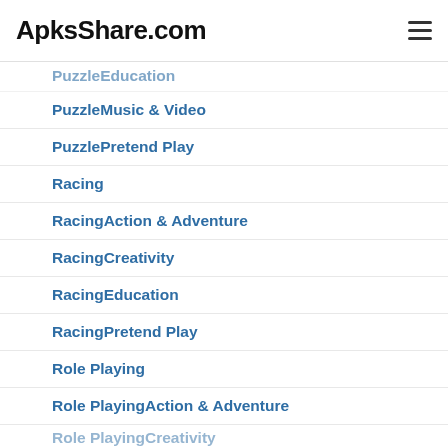ApksShare.com
PuzzleEducation
PuzzleMusic & Video
PuzzlePretend Play
Racing
RacingAction & Adventure
RacingCreativity
RacingEducation
RacingPretend Play
Role Playing
Role PlayingAction & Adventure
Role PlayingCreativity